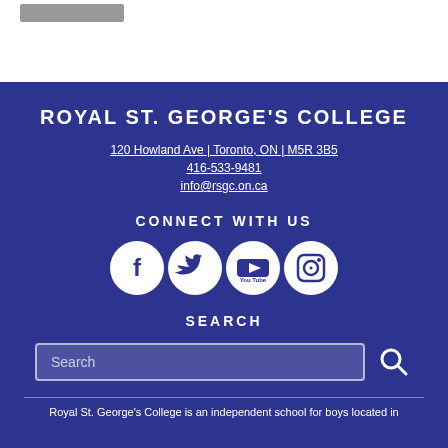[Figure (other): Gray rectangle placeholder/button at top of page]
ROYAL ST. GEORGE'S COLLEGE
120 Howland Ave | Toronto, ON | M5R 3B5
416-533-9481
info@rsgc.on.ca
CONNECT WITH US
[Figure (illustration): Row of four social media icons: Facebook, Twitter, YouTube, Instagram]
SEARCH
[Figure (other): Search input box with placeholder text 'Search' and a search magnifying glass icon button]
Royal St. George's College is an independent school for boys located in